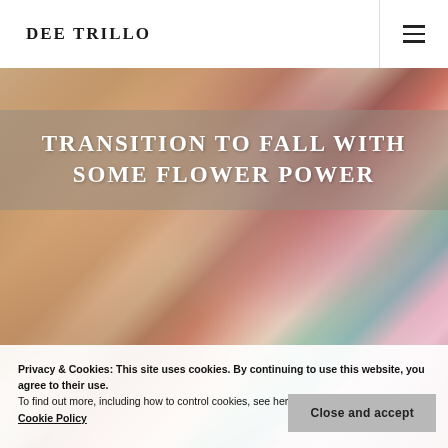DEE TRILLO
[Figure (photo): Hero background photo of a woman with long red/dark hair wearing a floral top, holding what appears to be a large circular object. Warm skin tones with colorful floral fabric visible.]
TRANSITION TO FALL WITH SOME FLOWER POWER
Privacy & Cookies: This site uses cookies. By continuing to use this website, you agree to their use.
To find out more, including how to control cookies, see here:
Cookie Policy
Close and accept